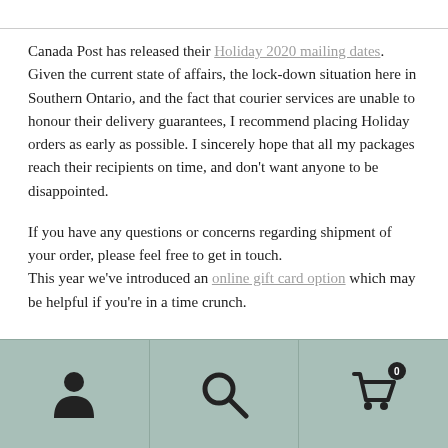Canada Post has released their Holiday 2020 mailing dates. Given the current state of affairs, the lock-down situation here in Southern Ontario, and the fact that courier services are unable to honour their delivery guarantees, I recommend placing Holiday orders as early as possible. I sincerely hope that all my packages reach their recipients on time, and don't want anyone to be disappointed.
If you have any questions or concerns regarding shipment of your order, please feel free to get in touch. This year we've introduced an online gift card option which may be helpful if you're in a time crunch.
[Figure (infographic): Mobile navigation footer bar with three icons: person/account icon, search magnifying glass icon, and shopping cart icon with badge showing 0]